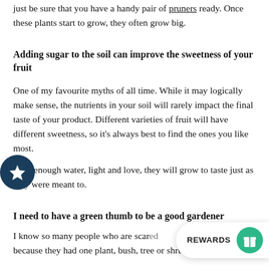just be sure that you have a handy pair of pruners ready. Once these plants start to grow, they often grow big.
Adding sugar to the soil can improve the sweetness of your fruit
One of my favourite myths of all time. While it may logically make sense, the nutrients in your soil will rarely impact the final taste of your product. Different varieties of fruit will have different sweetness, so it's always best to find the ones you like most.
With enough water, light and love, they will grow to taste just as they were meant to.
I need to have a green thumb to be a good gardener
I know so many people who are scared because they had one plant, bush, tree or shrub that didn't